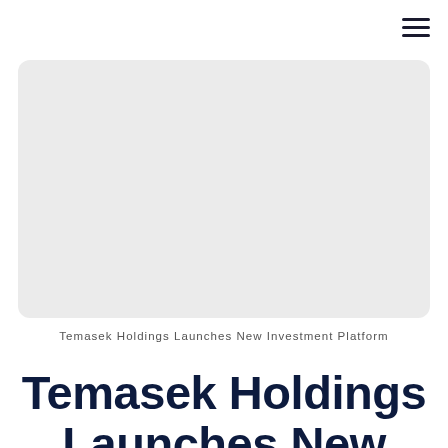[Figure (photo): Large light gray rectangular placeholder image area with rounded corners]
Temasek Holdings Launches New Investment Platform
Temasek Holdings Launches New